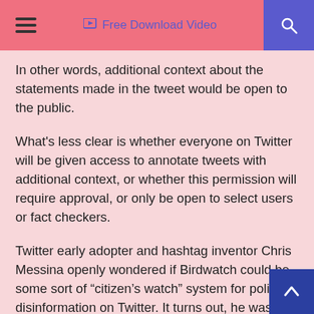Free Download Video
In other words, additional context about the statements made in the tweet would be open to the public.
What's less clear is whether everyone on Twitter will be given access to annotate tweets with additional context, or whether this permission will require approval, or only be open to select users or fact checkers.
Twitter early adopter and hashtag inventor Chris Messina openly wondered if Birdwatch could be some sort of “citizen’s watch” system for policing disinformation on Twitter. It turns out, he was right.
According to line items he found within Twitter’s code, these annotations — the “Birdwatch Notes” — are referred to as “contributions,” which does seem to imply a crowdsourced system. (After all, a user would contribute